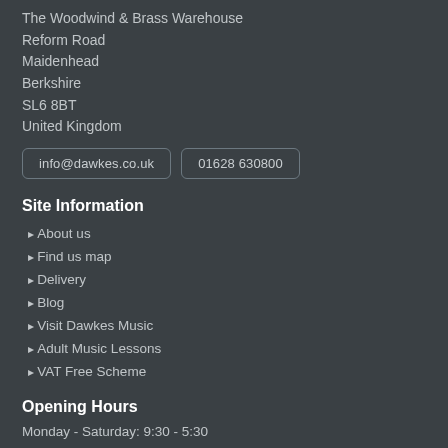The Woodwind & Brass Warehouse
Reform Road
Maidenhead
Berkshire
SL6 8BT
United Kingdom
info@dawkes.co.uk  01628 630800
Site Information
About us
Find us map
Delivery
Blog
Visit Dawkes Music
Adult Music Lessons
VAT Free Scheme
Opening Hours
Monday - Saturday: 9:30 - 5:30
Service & Support
Contact Us
Privacy Policy